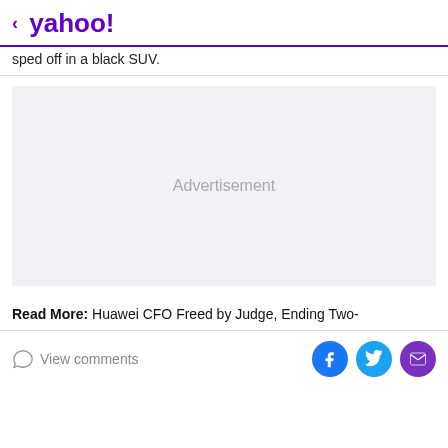< yahoo!
sped off in a black SUV.
[Figure (other): Advertisement placeholder box with light gray background]
Read More: Huawei CFO Freed by Judge, Ending Two-
View comments